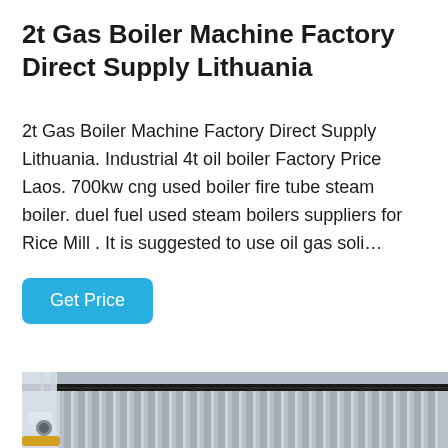2t Gas Boiler Machine Factory Direct Supply Lithuania
2t Gas Boiler Machine Factory Direct Supply Lithuania. Industrial 4t oil boiler Factory Price Laos. 700kw cng used boiler fire tube steam boiler. duel fuel used steam boilers suppliers for Rice Mill . It is suggested to use oil gas soli…
Get Price
[Figure (photo): Industrial boiler photograph showing corrugated metal insulation panels on a large boiler unit inside a factory building, with yellow pipes visible at the bottom left and overhead steel structure visible.]